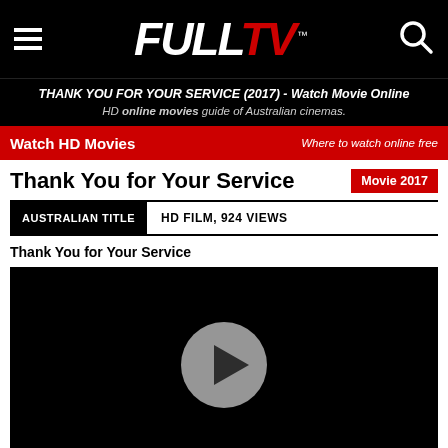FULL TV
THANK YOU FOR YOUR SERVICE (2017) - Watch Movie Online
HD online movies guide of Australian cinemas.
Watch HD Movies | Where to watch online free
Thank You for Your Service
Movie 2017
| AUSTRALIAN TITLE | HD FILM, 924 VIEWS |
| --- | --- |
Thank You for Your Service
[Figure (screenshot): Black video player area with a grey circular play button in the center]